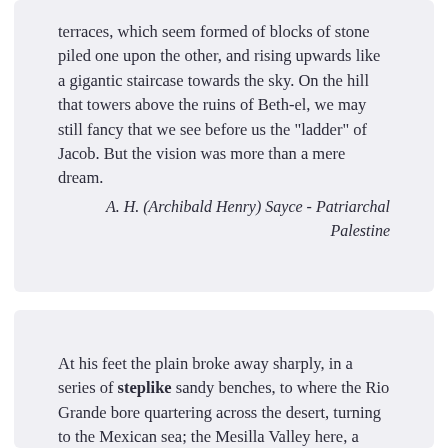terraces, which seem formed of blocks of stone piled one upon the other, and rising upwards like a gigantic staircase towards the sky. On the hill that towers above the ruins of Beth-el, we may still fancy that we see before us the "ladder" of Jacob. But the vision was more than a mere dream.
A. H. (Archibald Henry) Sayce - Patriarchal Palestine
At his feet the plain broke away sharply, in a series of steplike sandy benches, to where the Rio Grande bore quartering across the desert, turning to the Mexican sea; the Mesilla Valley here, a slender ribbon of mossy green, broidered with loops of flashing river a ribbon six miles by